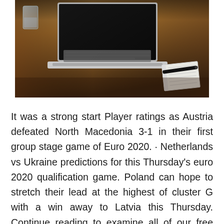[Figure (photo): A laptop computer open on a wooden desk, with a glass of water on the left and a notebook with a pen on the right.]
It was a strong start Player ratings as Austria defeated North Macedonia 3-1 in their first group stage game of Euro 2020. · Netherlands vs Ukraine predictions for this Thursday's euro 2020 qualification game. Poland can hope to stretch their lead at the highest of cluster G with a win away to Latvia this Thursday. Continue reading to examine all of our free predictions and sporting tips for this game. Jun 12, 2021 · Group A: Italy